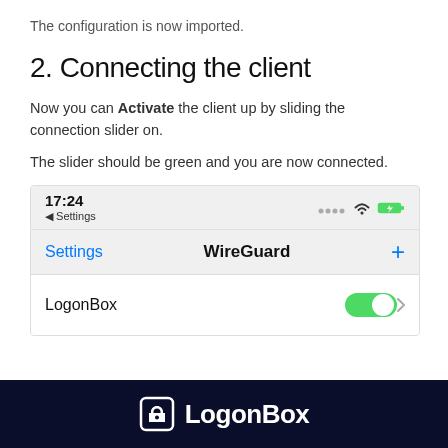The configuration is now imported.
2. Connecting the client
Now you can Activate the client up by sliding the connection slider on.
The slider should be green and you are now connected.
[Figure (screenshot): iOS WireGuard app screenshot showing status bar with time 17:24, Settings navigation bar, WireGuard title, and LogonBox VPN entry with a green toggle switch turned on.]
LogonBox